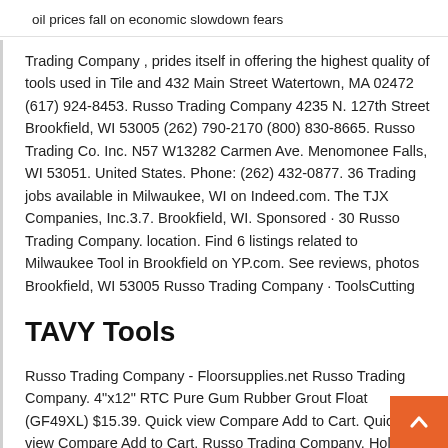oil prices fall on economic slowdown fears
Trading Company , prides itself in offering the highest quality of tools used in Tile and 432 Main Street Watertown, MA 02472 (617) 924-8453. Russo Trading Company 4235 N. 127th Street Brookfield, WI 53005 (262) 790-2170 (800) 830-8665. Russo Trading Co. Inc. N57 W13282 Carmen Ave. Menomonee Falls, WI 53051. United States. Phone: (262) 432-0877. 36 Trading jobs available in Milwaukee, WI on Indeed.com. The TJX Companies, Inc.3.7. Brookfield, WI. Sponsored · 30 Russo Trading Company. location. Find 6 listings related to Milwaukee Tool in Brookfield on YP.com. See reviews, photos Brookfield, WI 53005 Russo Trading Company · ToolsCutting
TAVY Tools
Russo Trading Company - Floorsupplies.net Russo Trading Company. 4"x12" RTC Pure Gum Rubber Grout Float (GF49XL) $15.39. Quick view Compare Add to Cart. Quick view Compare Add to Cart. Russo Trading Company. Hole Shot Wet Series o